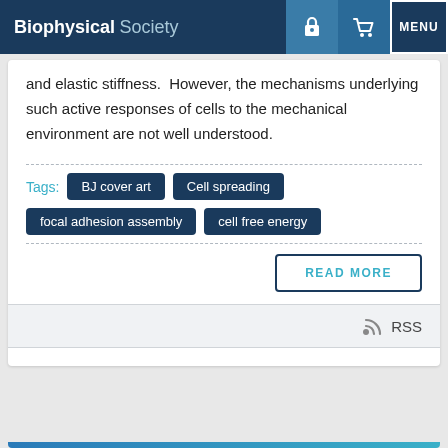Biophysical Society
and elastic stiffness.  However, the mechanisms underlying such active responses of cells to the mechanical environment are not well understood.
Tags: BJ cover art  Cell spreading  focal adhesion assembly  cell free energy
READ MORE
RSS